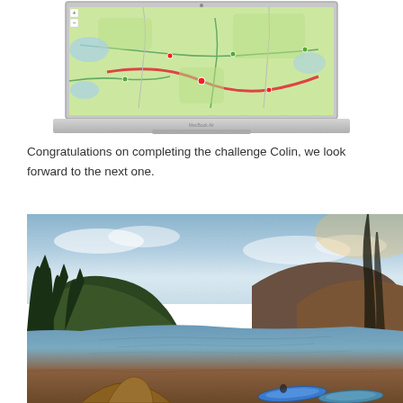[Figure (screenshot): A MacBook laptop displaying a map (appears to be Google Maps showing roads and terrain in Ireland/Scotland area) on its screen, viewed from the front.]
Congratulations on completing the challenge Colin, we look forward to the next one.
[Figure (photo): Scenic landscape photograph of a calm loch or lake surrounded by hills and conifer trees, with two inflatable kayaks on the reddish-brown shoreline and a tent in the foreground, taken at dusk or dawn with soft light.]